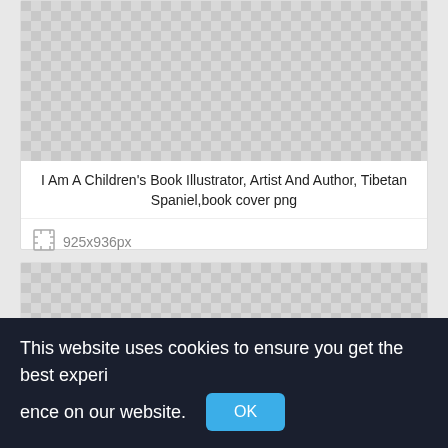[Figure (illustration): Checkerboard transparent background placeholder for first image card]
I Am A Children's Book Illustrator, Artist And Author, Tibetan Spaniel,book cover png
925x936px
[Figure (illustration): Checkerboard transparent background placeholder for second image card]
This website uses cookies to ensure you get the best experience on our website.